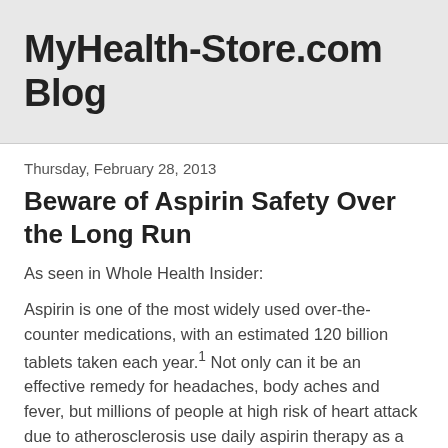MyHealth-Store.com Blog
Thursday, February 28, 2013
Beware of Aspirin Safety Over the Long Run
As seen in Whole Health Insider:
Aspirin is one of the most widely used over-the-counter medications, with an estimated 120 billion tablets taken each year.¹ Not only can it be an effective remedy for headaches, body aches and fever, but millions of people at high risk of heart attack due to atherosclerosis use daily aspirin therapy as a preventative measure, thanks to aspirin’s anticoagulant properties.
Because it’s so commonly used, many people assume that